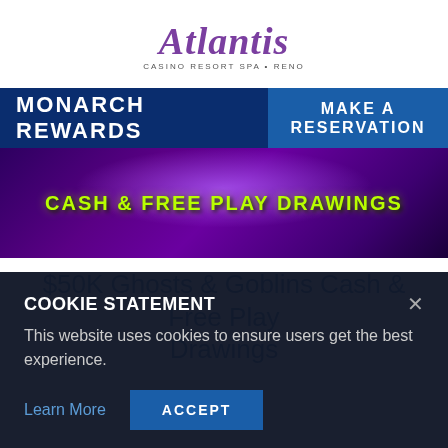[Figure (logo): Atlantis Casino Resort Spa • Reno logo in purple italic script with subtitle]
MONARCH REWARDS   MAKE A RESERVATION
[Figure (illustration): Purple/violet banner with glowing text: CASH & FREE PLAY DRAWINGS]
$50K Ghosts & Goblins Cash & Free Play Drawings
COOKIE STATEMENT
This website uses cookies to ensure users get the best experience.
Learn More   ACCEPT